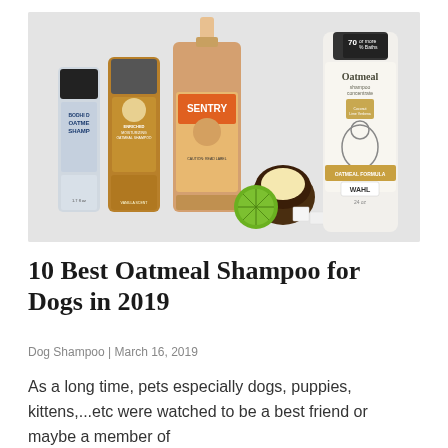[Figure (photo): Product photo showing multiple dog oatmeal shampoo bottles on a light gray background: Bodhi Dog Oatmeal Shampoo, an Enriched Moisturizing Oatmeal Shampoo, a large Sentry pump bottle, and a Wahl Oatmeal Shampoo Concentrate (24 oz, Coconut Lime Verbena), with coconut halves, lime slices, and sugar cubes arranged in front.]
10 Best Oatmeal Shampoo for Dogs in 2019
Dog Shampoo | March 16, 2019
As a long time, pets especially dogs, puppies, kittens,...etc were watched to be a best friend or maybe a member of